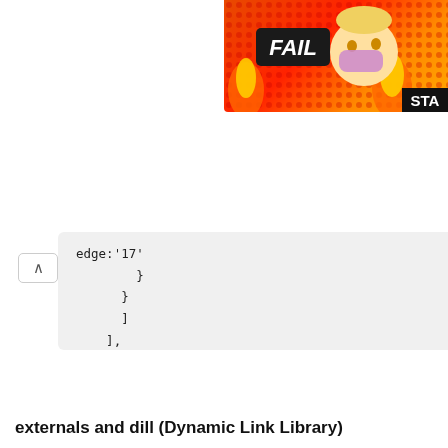[Figure (illustration): A FAIL banner with animated emoji character facepalming, surrounded by flames, with STA text in bottom right corner]
edge:'17'
        }
    }
    ]
],
//Enable babel cache
//On the second build, the previo
CacheDirectory:true
]
}
    }
],

},
externals and dill (Dynamic Link Library)